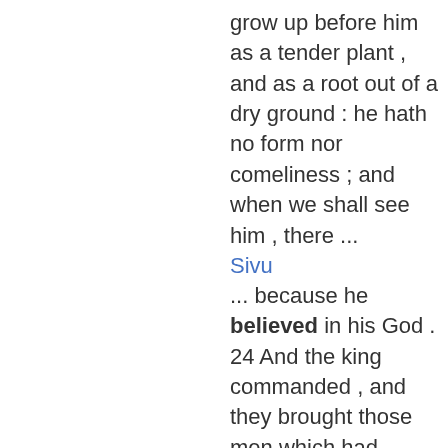grow up before him as a tender plant , and as a root out of a dry ground : he hath no form nor comeliness ; and when we shall see him , there ...
Sivu
... because he believed in his God . 24 And the king commanded , and they brought those men which had accused Daniel , and they cast them into the den of lions , them , their children , and their wives ; and the lions had the mastery of ...
Sivu
13 And Jesus said unto the centurion , Go thy way , and as thou hast